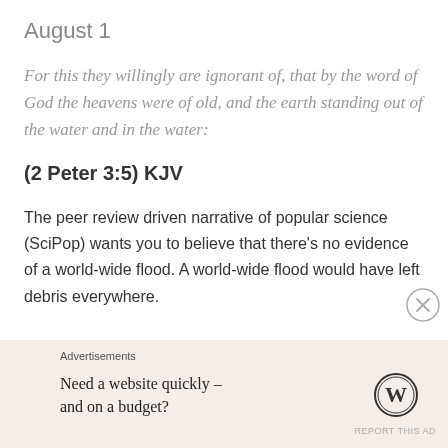August 1
For this they willingly are ignorant of, that by the word of God the heavens were of old, and the earth standing out of the water and in the water:
(2 Peter 3:5) KJV
The peer review driven narrative of popular science (SciPop) wants you to believe that there’s no evidence of a world-wide flood. A world-wide flood would have left debris everywhere.
Advertisements
Need a website quickly – and on a budget?